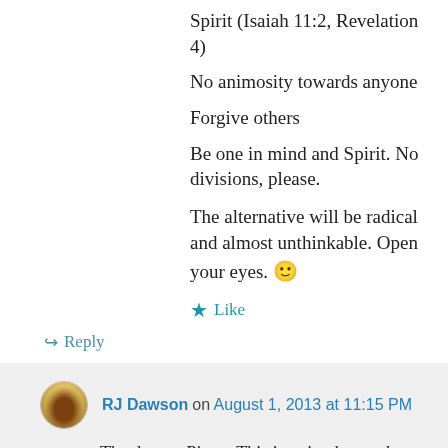Spirit (Isaiah 11:2, Revelation 4)
No animosity towards anyone
Forgive others
Be one in mind and Spirit. No divisions, please.
The alternative will be radical and almost unthinkable. Open your eyes. 🙂
★ Like
↪ Reply
RJ Dawson on August 1, 2013 at 11:15 PM
Thank you, Pieter. This is quite the somber subject. Of course we know that a house divided against itself cannot stand. Yet, the truth separates. The Lord Himself said He